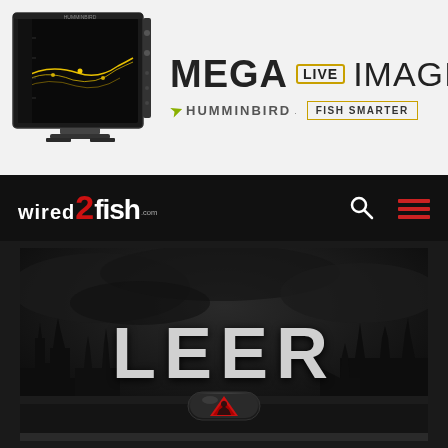[Figure (screenshot): Humminbird Mega Live Imaging advertisement banner with a fish-finder device screen on the left showing sonar imagery, and on the right large text reading MEGA LIVE IMAGING with the Humminbird logo and FISH SMARTER button]
[Figure (logo): Wired2Fish.com website navigation bar with logo on left (WIRED2fish.com in white and red on black background) and search icon and hamburger menu icon on the right]
[Figure (photo): Dark moody photo of a truck bed cover with the LEER brand name in large silver letters and a red/black latch handle visible, with dark stormy sky and trees in background]